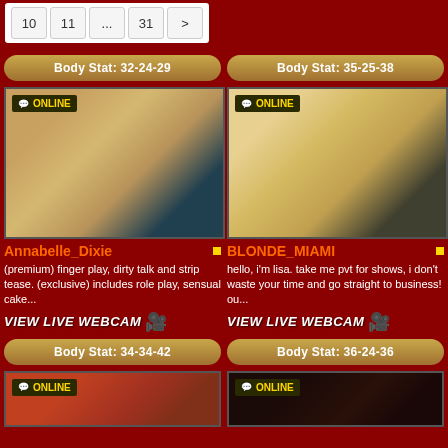10  11  ...  31  >
Body Stat: 32-24-29
Body Stat: 35-25-38
[Figure (photo): Annabelle_Dixie profile photo - blonde woman closeup selfie]
[Figure (photo): BLONDE_MIAMI profile photo - blonde woman in floral top]
Annabelle_Dixie
BLONDE_MIAMI
(premium) finger play, dirty talk and strip tease. (exclusive) includes role play, sensual cake...
hello, i'm lisa. take me pvt for shows, i don't waste your time and go straight to business! ou...
VIEW LIVE WEBCAM
VIEW LIVE WEBCAM
Body Stat: 34-34-42
Body Stat: 36-24-36
[Figure (photo): Partially visible photo - bottom left, auburn/red tones]
[Figure (photo): Partially visible photo - bottom right, dark tones]